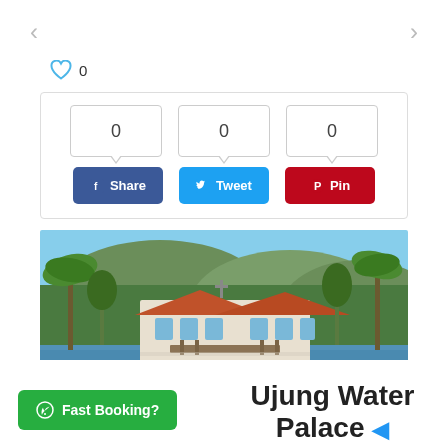< (left arrow navigation)
> (right arrow navigation)
♡ 0
[Figure (infographic): Social share widget with three count bubbles each showing 0, and three buttons: Facebook Share (blue), Twitter Tweet (blue), Pinterest Pin (red)]
[Figure (photo): Ujung Water Palace - a white colonial-style building with orange tiled roof surrounded by tropical palm trees and green hills, reflected in a lake]
Ujung Water Palace ◄
Fast Booking?